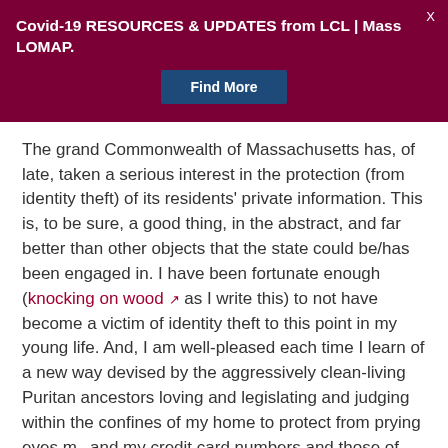Covid-19 RESOURCES & UPDATES from LCL | Mass LOMAP.
Find More
The grand Commonwealth of Massachusetts has, of late, taken a serious interest in the protection (from identity theft) of its residents' private information. This is, to be sure, a good thing, in the abstract, and far better than other objects that the state could be/has been engaged in. I have been fortunate enough (knocking on wood [external link] as I write this) to not have become a victim of identity theft to this point in my young life. And, I am well-pleased each time I learn of a new way devised by the aggressively clean-living Puritan ancestors loving and legislating and judging within the confines of my home to protect from prying eyes my and my credit card numbers and those of my fellow course, in reality, what is good for the gooses is no always good for the ganderers; and, in the case of the